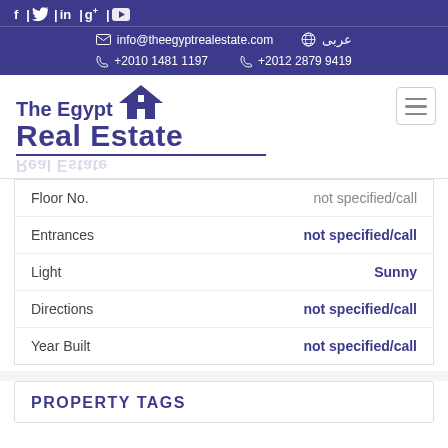f | Twitter | in | g+ | YouTube | info@theegyptrealestate.com | عربى | +2010 1481 1197 | +2012 2879 9419
[Figure (logo): The Egypt Real Estate logo with house icon]
| Field | Value |
| --- | --- |
| Floor No. | not specified/call |
| Entrances | not specified/call |
| Light | Sunny |
| Directions | not specified/call |
| Year Built | not specified/call |
PROPERTY TAGS